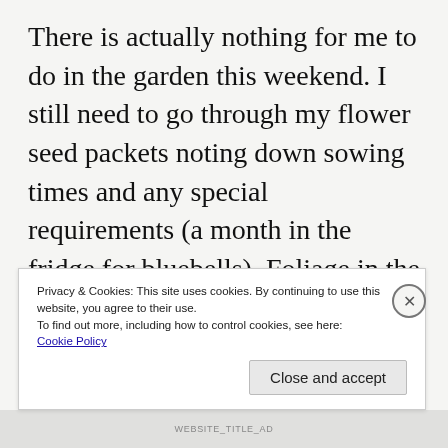There is actually nothing for me to do in the garden this weekend. I still need to go through my flower seed packets noting down sowing times and any special requirements (a month in the fridge for bluebells). Foliage in the front garden hasn't died back enough to tidy away and any encroaching branches are the responsibility of others. Leaves are already falling, just a few for now, but lovely and crunchy underfoot, and with cooler weather forecast for next week, many more to follow,
Privacy & Cookies: This site uses cookies. By continuing to use this website, you agree to their use.
To find out more, including how to control cookies, see here: Cookie Policy
Close and accept
WEBSITE_TITLE_AD